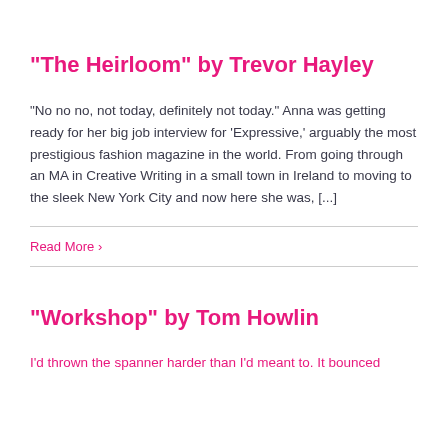“The Heirloom” by Trevor Hayley
“No no no, not today, definitely not today.” Anna was getting ready for her big job interview for ‘Expressive,’ arguably the most prestigious fashion magazine in the world. From going through an MA in Creative Writing in a small town in Ireland to moving to the sleek New York City and now here she was, […]
Read More ›
“Workshop” by Tom Howlin
I’d thrown the spanner harder than I’d meant to. It bounced